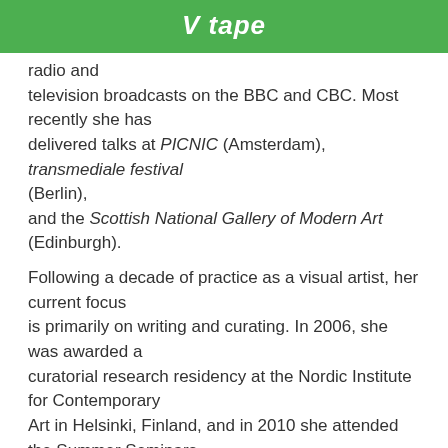V tape
radio and television broadcasts on the BBC and CBC. Most recently she has delivered talks at PICNIC (Amsterdam), transmediale festival (Berlin), and the Scottish National Gallery of Modern Art (Edinburgh).
Following a decade of practice as a visual artist, her current focus is primarily on writing and curating. In 2006, she was awarded a curatorial research residency at the Nordic Institute for Contemporary Art in Helsinki, Finland, and in 2010 she attended the Summer Seminars for Art Curators in Yerevan, Armenia. In 2006, Michelle founded a leading blog on the subject of curating contemporary art,